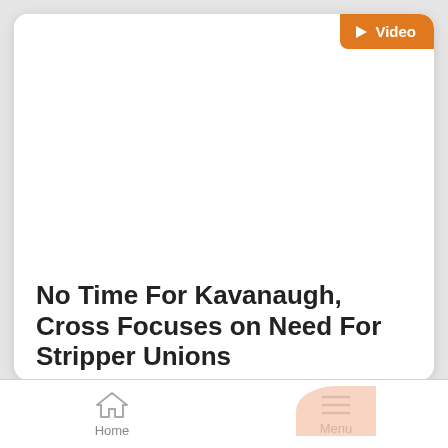[Figure (screenshot): White card area for article thumbnail image with an orange Video badge in top-right corner]
No Time For Kavanaugh, Cross Focuses on Need For Stripper Unions
Alex Christy
Home   Menu